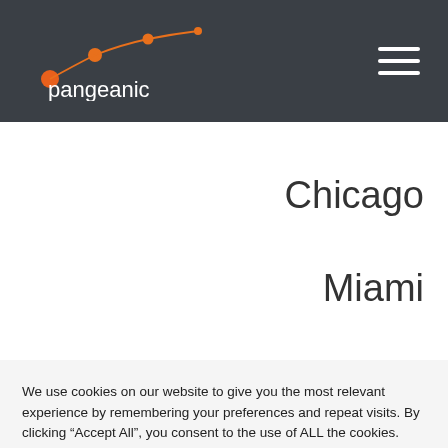[Figure (logo): Pangeanic logo with orange dots connected by lines and 'pangeanic' text in white]
Chicago
Miami
We use cookies on our website to give you the most relevant experience by remembering your preferences and repeat visits. By clicking “Accept All”, you consent to the use of ALL the cookies. However, you may visit "Cookie Settings" to provide a controlled consent.
Cookie Settings
Accept All